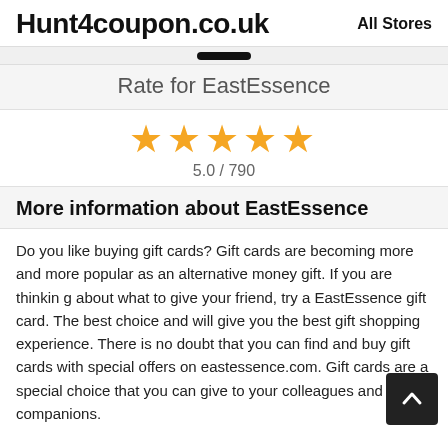Hunt4coupon.co.uk   All Stores
Rate for EastEssence
[Figure (other): Five gold stars rating display showing 5.0 / 790]
More information about EastEssence
Do you like buying gift cards? Gift cards are becoming more and more popular as an alternative money gift. If you are thinking about what to give your friend, try a EastEssence gift card. T... the best choice and will give you the best gift shopping experience. There is no doubt that you can find and buy gift cards with special offers on eastessence.com. Gift cards are a special choice that you can give to your colleagues and companions.